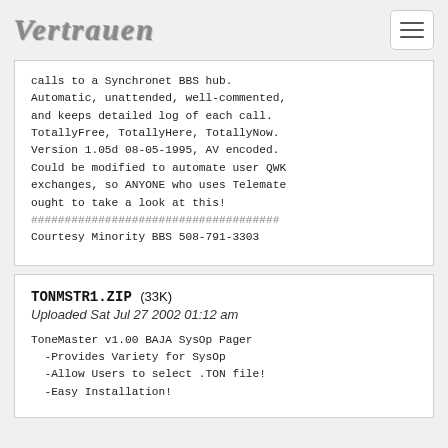Vertrauen
calls to a Synchronet BBS hub.
Automatic, unattended, well-commented,
and keeps detailed log of each call.
TotallyFree, TotallyHere, TotallyNow.
Version 1.05d 08-05-1995, AV encoded.
Could be modified to automate user QWK
exchanges, so ANYONE who uses Telemate
ought to take a look at this!
#####################################
Courtesy Minority BBS 508-791-3303
TONMSTR1.ZIP (33K)
Uploaded Sat Jul 27 2002 01:12 am

ToneMaster v1.00 BAJA SysOp Pager
  -Provides Variety for SysOp
  -Allow Users to select .TON file!
  -Easy Installation!